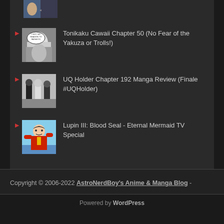[Figure (illustration): Partial manga thumbnail at top of page, cropped anime/manga characters]
Tonikaku Cawaii Chapter 50 (No Fear of the Yakuza or Trolls!)
UQ Holder Chapter 192 Manga Review (Finale #UQHolder)
Lupin III: Blood Seal - Eternal Mermaid TV Special
Copyright © 2006-2022 AstroNerdBoy's Anime & Manga Blog -
Powered by WordPress